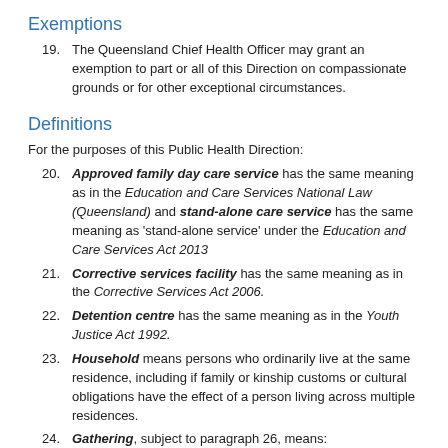Exemptions
19. The Queensland Chief Health Officer may grant an exemption to part or all of this Direction on compassionate grounds or for other exceptional circumstances.
Definitions
For the purposes of this Public Health Direction:
20. Approved family day care service has the same meaning as in the Education and Care Services National Law (Queensland) and stand-alone care service has the same meaning as 'stand-alone service' under the Education and Care Services Act 2013
21. Corrective services facility has the same meaning as in the Corrective Services Act 2006.
22. Detention centre has the same meaning as in the Youth Justice Act 1992.
23. Household means persons who ordinarily live at the same residence, including if family or kinship customs or cultural obligations have the effect of a person living across multiple residences.
24. Gathering, subject to paragraph 26, means:
a. under Part 2 means a gathering of more than 30 persons in a single undivided outdoor space or single undivided indoor